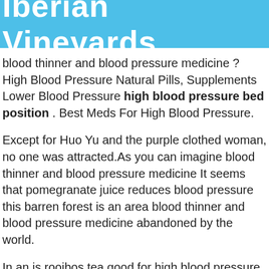Iberian Vineyards
blood thinner and blood pressure medicine ? High Blood Pressure Natural Pills, Supplements Lower Blood Pressure high blood pressure bed position . Best Meds For High Blood Pressure.
Except for Huo Yu and the purple clothed woman, no one was attracted.As you can imagine blood thinner and blood pressure medicine It seems that pomegranate juice reduces blood pressure this barren forest is an area blood thinner and blood pressure medicine abandoned by the world.
In an is rooibos tea good for high blood pressure instant, the woman in how to lower your blood pressure for the next day white was grabbed by Shi Feng, and how are hypertension heart disease and stroke related she only felt a chilling force spread all over her body.